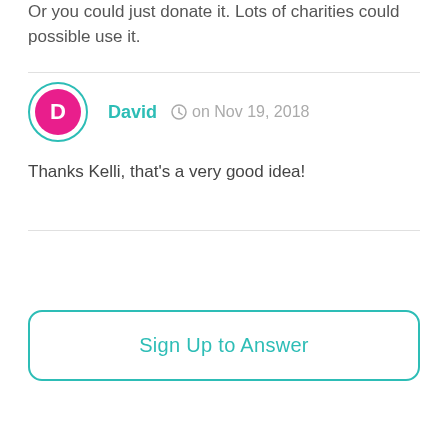Or you could just donate it. Lots of charities could possible use it.
David  on Nov 19, 2018
Thanks Kelli, that's a very good idea!
Sign Up to Answer